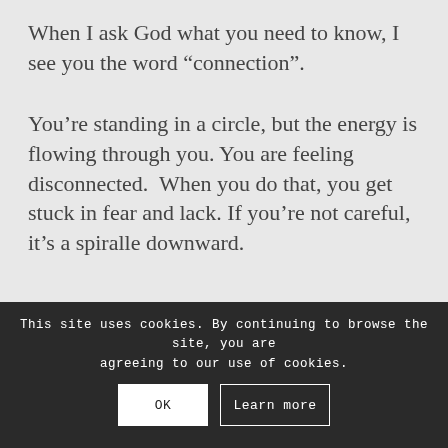When I ask God what you need to know, I see you the word “connection”.
You’re standing in a circle, but the energy is flowing through you. You are feeling disconnected.  When you do that, you get stuck in fear and lack. If you’re not careful, it’s a spiralle downward.
It’s time to shift your energy.
This site uses cookies. By continuing to browse the site, you are agreeing to our use of cookies.